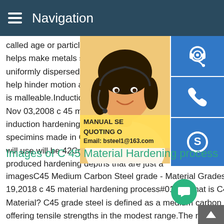Navigation
called age or particle hardening,is a heat t helps make metals stronger.The process o uniformly dispersed particles within a meta help hinder motion and thereby strengthen is malleable.Induction hardening of C45 a Nov 03,2008 c 45 material hardening proc induction hardening trials have been carrie specimins made in C45 steel.In production will use will be 42CrMo4.Unfortunately the produced hardening depths that are just a
[Figure (photo): Woman wearing headset, customer support representative, with blue icon buttons for support, phone, and Skype on the right side, and a yellow overlay showing MANUAL SE... QUOTING O... Email: bsteel1@163.com]
Images of C 45 Material Hardening process
imagesC45 Medium Carbon Steel grade - Material GradesJul 19,2018 c 45 material hardening process#0183;What is C45 Material? C45 grade steel is defined as a medium carbon stee offering tensile strengths in the modest range.The material ca